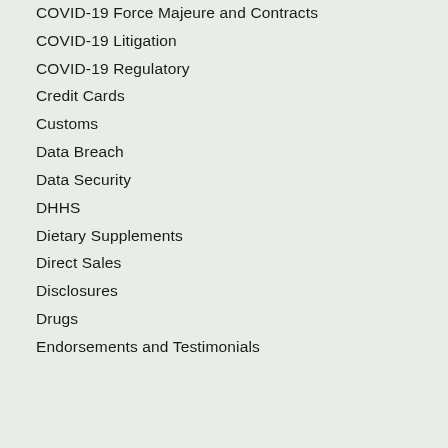COVID-19 Force Majeure and Contracts
COVID-19 Litigation
COVID-19 Regulatory
Credit Cards
Customs
Data Breach
Data Security
DHHS
Dietary Supplements
Direct Sales
Disclosures
Drugs
Endorsements and Testimonials